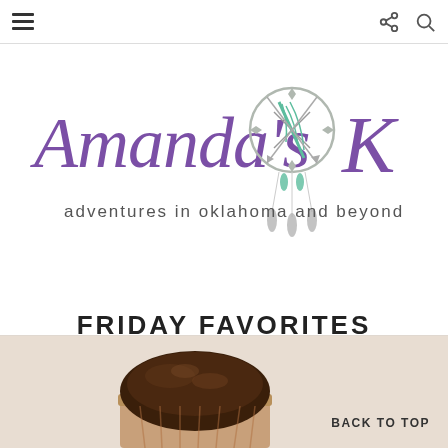Navigation bar with hamburger menu, share icon, and search icon
[Figure (logo): Amanda's OK blog logo — cursive purple text 'Amanda's OK' with subtitle 'adventures in oklahoma and beyond' and a dreamcatcher illustration with teal feathers]
FRIDAY FAVORITES
Friday, June 30, 2017
[Figure (photo): Partial photo of a chocolate muffin or brownie at the bottom of the page]
BACK TO TOP